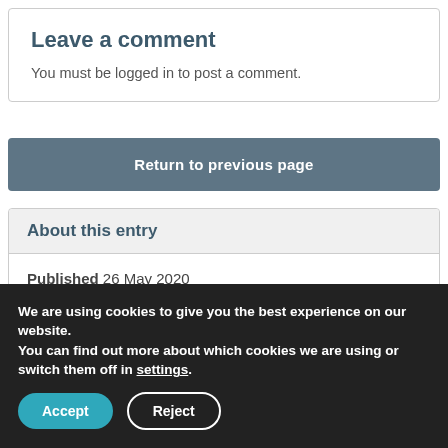Leave a comment
You must be logged in to post a comment.
Return to previous page
About this entry
Published 26 May 2020
Views 1268
Categories
Canteen
We are using cookies to give you the best experience on our website.
You can find out more about which cookies we are using or switch them off in settings.
Accept
Reject